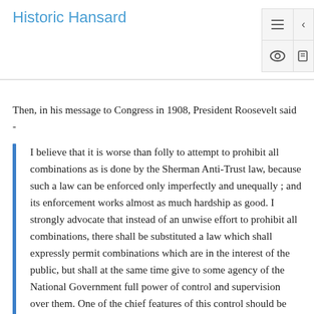Historic Hansard
Then, in his message to Congress in 1908, President Roosevelt said -
I believe that it is worse than folly to attempt to prohibit all combinations as is done by the Sherman Anti-Trust law, because such a law can be enforced only imperfectly and unequally ; and its enforcement works almost as much hardship as good. I strongly advocate that instead of an unwise effort to prohibit all combinations, there shall be substituted a law which shall expressly permit combinations which are in the interest of the public, but shall at the same time give to some agency of the National Government full power of control and supervision over them. One of the chief features of this control should be securing entire publicity in all matters which the public has a right to know, and furthermore the